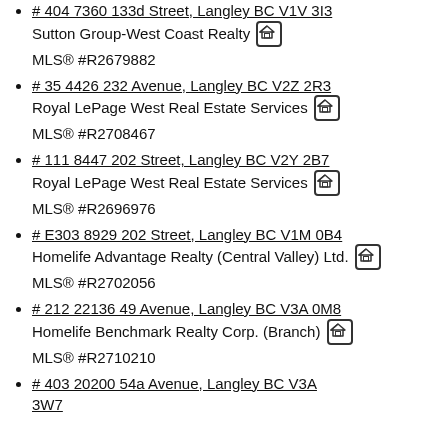# 404 7360 133d Street, Langley BC V1V 3I3
Sutton Group-West Coast Realty
MLS® #R2679882
# 35 4426 232 Avenue, Langley BC V2Z 2R3
Royal LePage West Real Estate Services
MLS® #R2708467
# 111 8447 202 Street, Langley BC V2Y 2B7
Royal LePage West Real Estate Services
MLS® #R2696976
# E303 8929 202 Street, Langley BC V1M 0B4
Homelife Advantage Realty (Central Valley) Ltd.
MLS® #R2702056
# 212 22136 49 Avenue, Langley BC V3A 0M8
Homelife Benchmark Realty Corp. (Branch)
MLS® #R2710210
# 403 20200 54a Avenue, Langley BC V3A 3W7